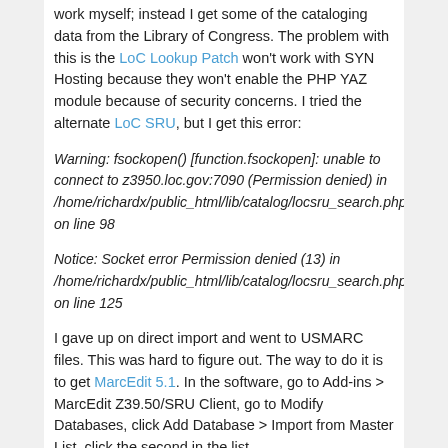work myself; instead I get some of the cataloging data from the Library of Congress. The problem with this is the LoC Lookup Patch won't work with SYN Hosting because they won't enable the PHP YAZ module because of security concerns. I tried the alternate LoC SRU, but I get this error:
Warning: fsockopen() [function.fsockopen]: unable to connect to z3950.loc.gov:7090 (Permission denied) in /home/richardx/public_html/lib/catalog/locsru_search.php on line 98
Notice: Socket error Permission denied (13) in /home/richardx/public_html/lib/catalog/locsru_search.php on line 125
I gave up on direct import and went to USMARC files. This was hard to figure out. The way to do it is to get MarcEdit 5.1. In the software, go to Add-ins > MarcEdit Z39.50/SRU Client, go to Modify Databases, click Add Database > Import from Master List, click the second in the list